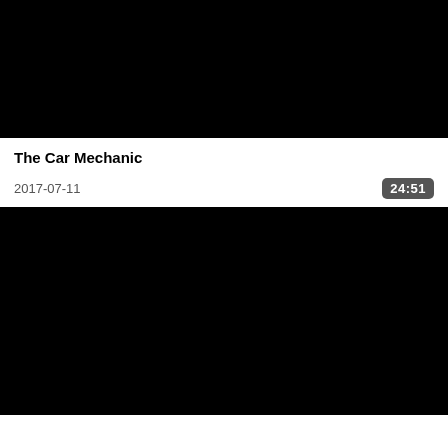[Figure (screenshot): Black video thumbnail placeholder at the top of the page]
The Car Mechanic
2017-07-11
24:51
[Figure (screenshot): Black video thumbnail placeholder at the bottom of the page]